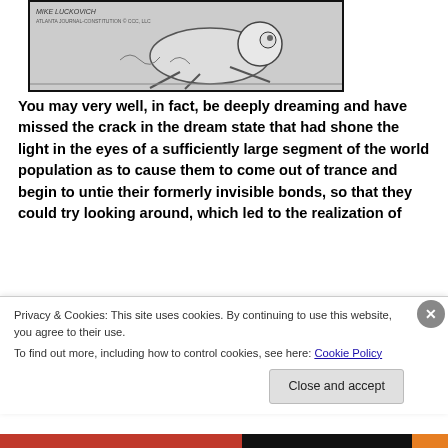[Figure (illustration): A cartoon illustration (by Mike Luckovich) showing a character in a sketchy pen-and-ink style, partially visible at top of page, with artist signature and syndication text at top left.]
You may very well, in fact, be deeply dreaming and have missed the crack in the dream state that had shone the light in the eyes of a sufficiently large segment of the world population as to cause them to come out of trance and begin to untie their formerly invisible bonds, so that they could try looking around, which led to the realization of
[Figure (illustration): A cartoon image of a top hat with the word 'Class' written in script next to it, and another small cartoon figure to the right.]
Privacy & Cookies: This site uses cookies. By continuing to use this website, you agree to their use.
To find out more, including how to control cookies, see here: Cookie Policy
Close and accept